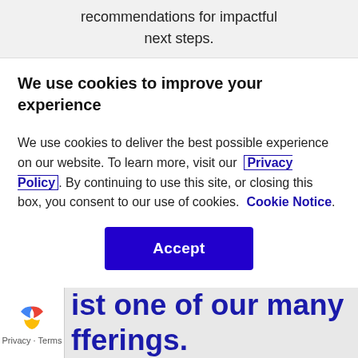recommendations for impactful next steps.
We use cookies to improve your experience
We use cookies to deliver the best possible experience on our website. To learn more, visit our Privacy Policy. By continuing to use this site, or closing this box, you consent to our use of cookies. Cookie Notice.
Accept
ist one of our many fferings.